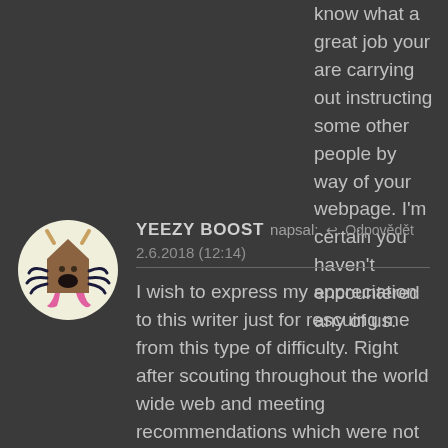know what a great job your are carrying out instructing some other people by way of your webpage. I'm certain you haven't encountered any of us.
[Figure (illustration): Circular avatar with a cream/yellow background showing a cartoon character resembling a house/building shape with horns and tentacle-like appendages, colored brown, pink, and black.]
YEEZY BOOST napsal: ↩ Odpovědět 2.6.2018 (12:14)
I wish to express my appreciation to this writer just for rescuing me from this type of difficulty. Right after scouting throughout the world wide web and meeting recommendations which were not pleasant, I thought my